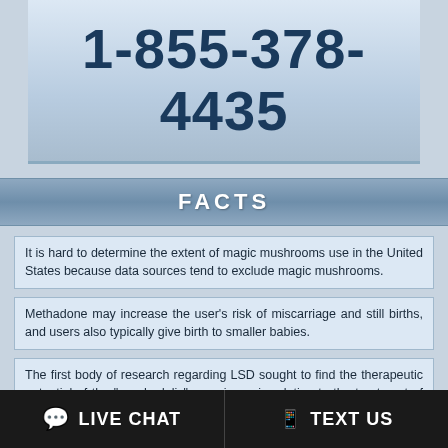1-855-378-4435
FACTS
It is hard to determine the extent of magic mushrooms use in the United States because data sources tend to exclude magic mushrooms.
Methadone may increase the user's risk of miscarriage and still births, and users also typically give birth to smaller babies.
The first body of research regarding LSD sought to find the therapeutic potential of the "psychedelic" experience in relation to the treatment of chronic alcoholism and mental illness.
Many doctors in the U.S. choose to use methadone for treating chronic pain
LIVE CHAT | TEXT US